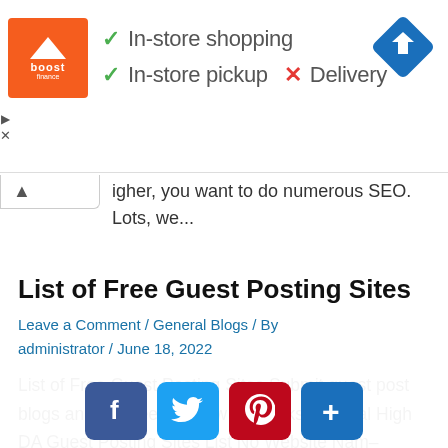[Figure (screenshot): Advertisement banner with Boost logo, checkmarks for In-store shopping and In-store pickup, red X for Delivery, and navigation icon]
higher, you want to do numerous SEO. Lots, we...
List of Free Guest Posting Sites
Leave a Comment / General Blogs / By administrator / June 18, 2022
List of Free Guest Posting Sites Submit guest post blogs and get free dofollow backlinks. Special High DA Guest Posting Sites List No Website Nam...
[Figure (screenshot): Social sharing buttons: Facebook, Twitter, Pinterest, and More (+)]